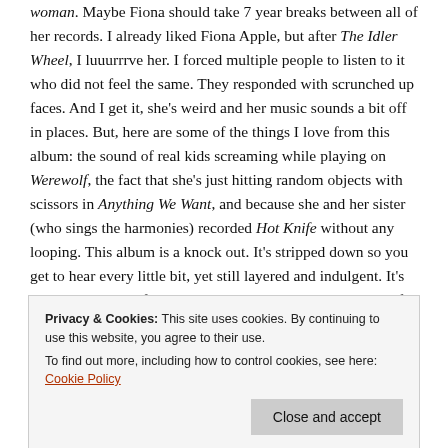woman. Maybe Fiona should take 7 year breaks between all of her records. I already liked Fiona Apple, but after The Idler Wheel, I luuurrrve her. I forced multiple people to listen to it who did not feel the same. They responded with scrunched up faces. And I get it, she's weird and her music sounds a bit off in places. But, here are some of the things I love from this album: the sound of real kids screaming while playing on Werewolf, the fact that she's just hitting random objects with scissors in Anything We Want, and because she and her sister (who sings the harmonies) recorded Hot Knife without any looping. This album is a knock out. It's stripped down so you get to hear every little bit, yet still layered and indulgent. It's too hard to pick a favorite track, but give this live version of Periphery a listen. I saw Fiona I guess 6 years
Privacy & Cookies: This site uses cookies. By continuing to use this website, you agree to their use.
To find out more, including how to control cookies, see here: Cookie Policy
but who cares. Lianne La Havas can sing, she can play guitar,